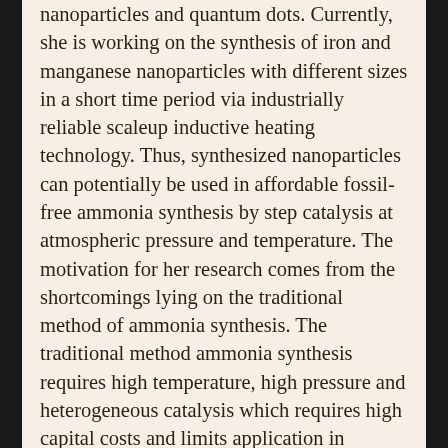nanoparticles and quantum dots. Currently, she is working on the synthesis of iron and manganese nanoparticles with different sizes in a short time period via industrially reliable scaleup inductive heating technology. Thus, synthesized nanoparticles can potentially be used in affordable fossil-free ammonia synthesis by step catalysis at atmospheric pressure and temperature. The motivation for her research comes from the shortcomings lying on the traditional method of ammonia synthesis. The traditional method ammonia synthesis requires high temperature, high pressure and heterogeneous catalysis which requires high capital costs and limits application in emerging markets. However, the iron and manganese nanoparticles synthesized at her lab can use nitrogen and hydrogen gas (renewable resources) to make ammonia through step catalysis. This is much cost effective as it is carried out at atmospheric temperature and pressure. Furthermore, this method can be used in scale-up synthesis in future. Ammonia synthesis will enable high-yield sustainable crop production for growing world population...